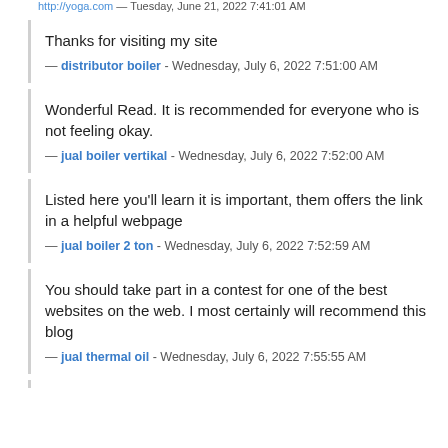http://yoga… — Tuesday, June 21, 2022 7:41:01 AM
Thanks for visiting my site
— distributor boiler - Wednesday, July 6, 2022 7:51:00 AM
Wonderful Read. It is recommended for everyone who is not feeling okay.
— jual boiler vertikal - Wednesday, July 6, 2022 7:52:00 AM
Listed here you'll learn it is important, them offers the link in a helpful webpage
— jual boiler 2 ton - Wednesday, July 6, 2022 7:52:59 AM
You should take part in a contest for one of the best websites on the web. I most certainly will recommend this blog
— jual thermal oil - Wednesday, July 6, 2022 7:55:55 AM